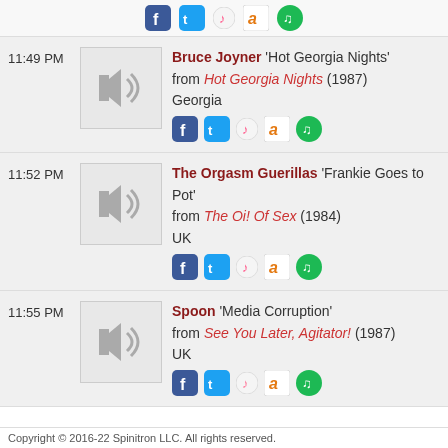[Figure (infographic): Top bar with social/music icons: Facebook, Twitter, iTunes, Amazon, Spotify]
11:49 PM — Bruce Joyner 'Hot Georgia Nights' from Hot Georgia Nights (1987) Georgia
11:52 PM — The Orgasm Guerillas 'Frankie Goes to Pot' from The Oi! Of Sex (1984) UK
11:55 PM — Spoon 'Media Corruption' from See You Later, Agitator! (1987) UK
Copyright © 2016-22 Spinitron LLC. All rights reserved.